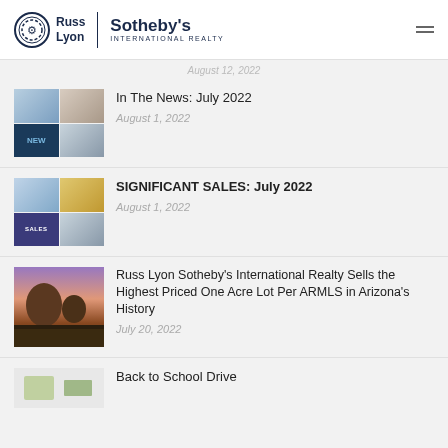Russ Lyon Sotheby's International Realty
August 12, 2022
[Figure (photo): Two thumbnail images of real estate properties]
In The News: July 2022
August 1, 2022
[Figure (photo): Two thumbnail images with SALES text overlay]
SIGNIFICANT SALES: July 2022
August 1, 2022
[Figure (photo): Landscape photo of Arizona desert at sunset]
Russ Lyon Sotheby's International Realty Sells the Highest Priced One Acre Lot Per ARMLS in Arizona's History
July 20, 2022
[Figure (photo): Partial thumbnail for Back to School Drive article]
Back to School Drive